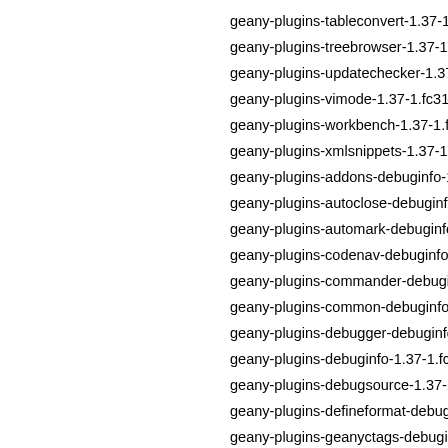geany-plugins-tableconvert-1.37-1.fc31.x86
geany-plugins-treebrowser-1.37-1.fc31.x86
geany-plugins-updatechecker-1.37-1.fc31.x
geany-plugins-vimode-1.37-1.fc31.x86_64.r
geany-plugins-workbench-1.37-1.fc31.x86_
geany-plugins-xmlsnippets-1.37-1.fc31.x86
geany-plugins-addons-debuginfo-1.37-1.fc3
geany-plugins-autoclose-debuginfo-1.37-1.f
geany-plugins-automark-debuginfo-1.37-1.f
geany-plugins-codenav-debuginfo-1.37-1.fc
geany-plugins-commander-debuginfo-1.37-
geany-plugins-common-debuginfo-1.37-1.fc
geany-plugins-debugger-debuginfo-1.37-1.f
geany-plugins-debuginfo-1.37-1.fc31.x86_6
geany-plugins-debugsource-1.37-1.fc31.x86
geany-plugins-defineformat-debuginfo-1.37
geany-plugins-geanyctags-debuginfo-1.37-
geany-plugins-geanydoc-debuginfo-1.37-1.
geany-plugins-geanyextrasel-debuginfo-1.3